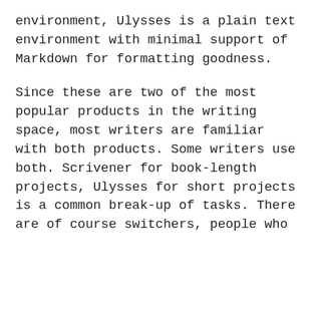environment, Ulysses is a plain text environment with minimal support of Markdown for formatting goodness.
Since these are two of the most popular products in the writing space, most writers are familiar with both products. Some writers use both. Scrivener for book-length projects, Ulysses for short projects is a common break-up of tasks. There are of course switchers, people who